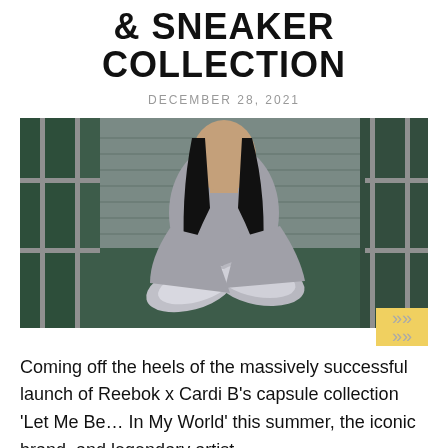& SNEAKER COLLECTION
DECEMBER 28, 2021
[Figure (photo): Woman in grey turtleneck top holding silver metallic sneakers, standing in front of industrial metal background with green walls]
Coming off the heels of the massively successful launch of Reebok x Cardi B's capsule collection 'Let Me Be… In My World' this summer, the iconic brand, and legendary artist